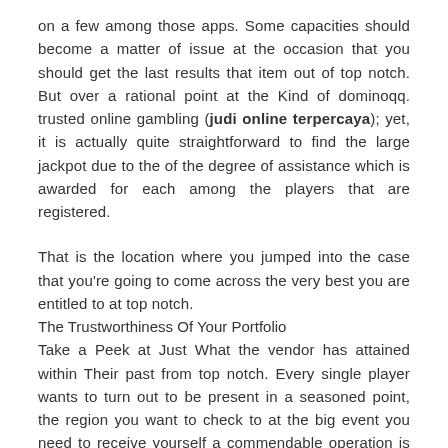on a few among those apps. Some capacities should become a matter of issue at the occasion that you should get the last results that item out of top notch. But over a rational point at the Kind of dominoqq. trusted online gambling (judi online terpercaya); yet, it is actually quite straightforward to find the large jackpot due to the of the degree of assistance which is awarded for each among the players that are registered.
That is the location where you jumped into the case that you're going to come across the very best you are entitled to at top notch.
The Trustworthiness Of Your Portfolio
Take a Peek at Just What the vendor has attained within Their past from top notch. Every single player wants to turn out to be present in a seasoned point, the region you want to check to at the big event you need to receive yourself a commendable operation is really a control of the things it really is that they can have achieved from the top notch.
The absolute most useful on the list of provides on the internet inside the shape of all dominoqq. Dominoqq online could comprise Unusual